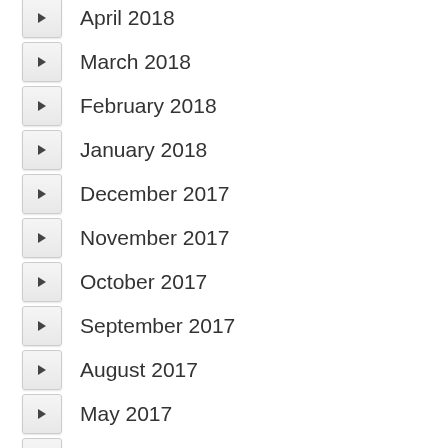April 2018
March 2018
February 2018
January 2018
December 2017
November 2017
October 2017
September 2017
August 2017
May 2017
April 2017
March 2017
February 2017
January 2017
December 2016
November 2016
September 2016